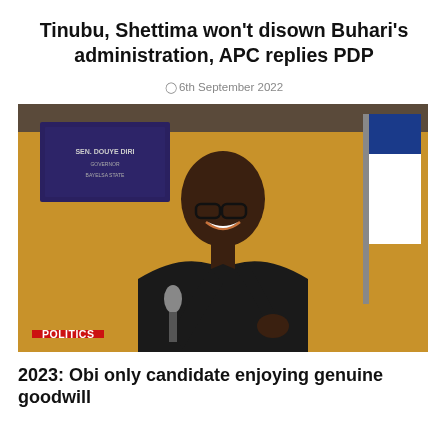Tinubu, Shettima won't disown Buhari's administration, APC replies PDP
6th September 2022
[Figure (photo): Man in black long-sleeve shirt smiling and holding a microphone, standing in front of a yellow/gold wall with a framed plaque reading 'SEN. DOUYE DIRI' and a white and blue flag. A red badge reading 'POLITICS' is overlaid in the lower left corner.]
2023: Obi only candidate enjoying genuine goodwill